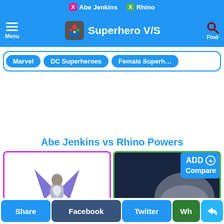Abe Jenkins  Rhino
Superhero V/S
Marvel
DC Superheroes
Female Superh…
Abe Jenkins vs Rhino Powers
[Figure (screenshot): Abe Jenkins character card with purple border, showing a winged armored superhero figure]
[Figure (screenshot): Rhino character card with green border, showing dark blue background with partial grey figure, and ADD Compare button overlay]
Share  Facebook  Twitter  Wh  <share icon>